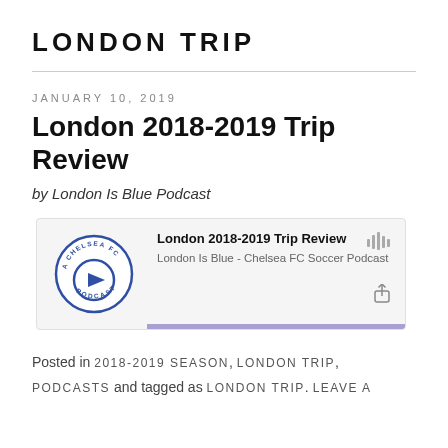LONDON TRIP
JANUARY 10, 2019
London 2018-2019 Trip Review
by London Is Blue Podcast
[Figure (screenshot): Podcast player widget showing 'London 2018-2019 Trip Review' episode from 'London Is Blue - Chelsea FC Soccer Podcast' with a Chelsea FC podcast logo on the left, waveform icon top right, share icon bottom right, and a purple progress bar at the bottom.]
Posted in 2018-2019 SEASON, LONDON TRIP, PODCASTS and tagged as LONDON TRIP. LEAVE A